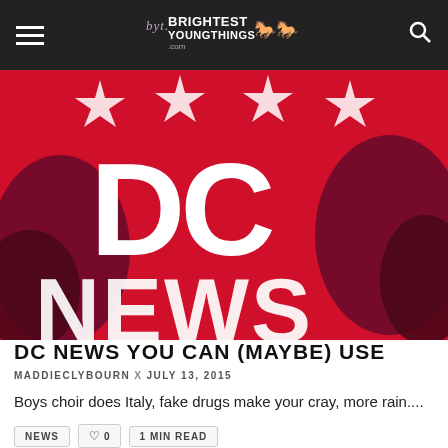byt BRIGHTEST YOUNGTHINGS.com
[Figure (illustration): Red graphic with large white letters 'DC' on top and 'NEWS' partially visible at bottom, with abstract dark maroon sculptural shapes on sides, resembling an album or event artwork]
DC NEWS YOU CAN (MAYBE) USE
MADDIECLYBOURN x JULY 13, 2015
Boys choir does Italy, fake drugs make your cray, more rain....
NEWS  ♡ 0  1 MIN READ